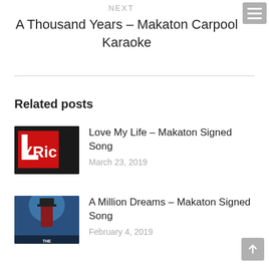NEXT
A Thousand Years – Makaton Carpool Karaoke
Related posts
[Figure (photo): Lyric theatre sign with white letters on red background, dark background]
Love My Life – Makaton Signed Song
March 23, 2019
[Figure (photo): The Greatest Showman movie poster with performer in red jacket against blue background]
A Million Dreams – Makaton Signed Song
February 4, 2019